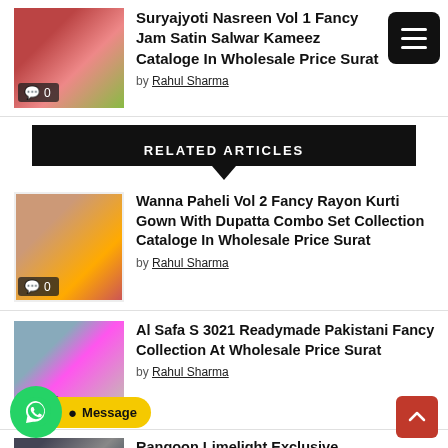[Figure (photo): Thumbnail image of Suryajyoti Nasreen Vol 1 Fancy Jam Satin Salwar Kameez with comment badge showing 0]
Suryajyoti Nasreen Vol 1 Fancy Jam Satin Salwar Kameez Cataloge In Wholesale Price Surat
by Rahul Sharma
[Figure (other): Menu button with three horizontal white lines on black background]
RELATED ARTICLES
[Figure (photo): Thumbnail image of Wanna Paheli Vol 2 catalog with comment badge showing 0]
Wanna Paheli Vol 2 Fancy Rayon Kurti Gown With Dupatta Combo Set Collection Cataloge In Wholesale Price Surat
by Rahul Sharma
[Figure (photo): Thumbnail image of Al Safa S 3021 collection with comment badge showing 0]
Al Safa S 3021 Readymade Pakistani Fancy Collection At Wholesale Price Surat
by Rahul Sharma
[Figure (photo): Thumbnail image of Rangoon Limelight collection with comment badge showing 0]
Rangoon Limelight Exclusive